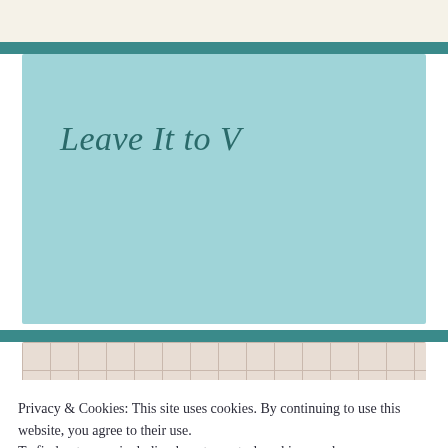[Figure (screenshot): Top cream colored bar, partial website header]
Leave It to V
Instagram
Privacy & Cookies: This site uses cookies. By continuing to use this website, you agree to their use.
To find out more, including how to control cookies, see here:
Cookie Policy
Close and accept
[Figure (photo): Partial photo strip at bottom showing two images]